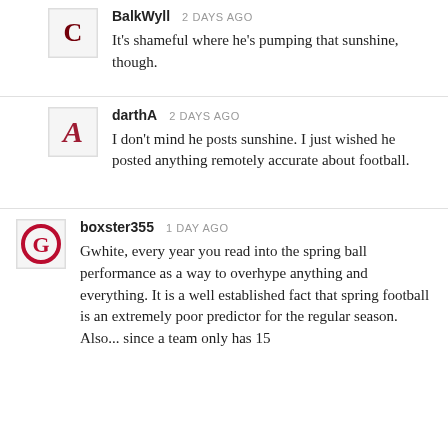BalkWyll   2 DAYS AGO
It's shameful where he's pumping that sunshine, though.
darthA   2 DAYS AGO
I don't mind he posts sunshine. I just wished he posted anything remotely accurate about football.
boxster355   1 DAY AGO
Gwhite, every year you read into the spring ball performance as a way to overhype anything and everything. It is a well established fact that spring football is an extremely poor predictor for the regular season. Also... since a team only has 15